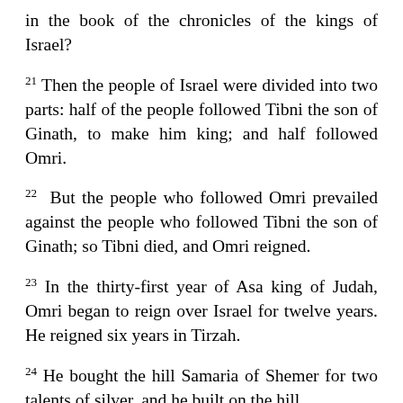in the book of the chronicles of the kings of Israel?
21 Then the people of Israel were divided into two parts: half of the people followed Tibni the son of Ginath, to make him king; and half followed Omri.
22 But the people who followed Omri prevailed against the people who followed Tibni the son of Ginath; so Tibni died, and Omri reigned.
23 In the thirty-first year of Asa king of Judah, Omri began to reign over Israel for twelve years. He reigned six years in Tirzah.
24 He bought the hill Samaria of Shemer for two talents of silver, and he built on the hill